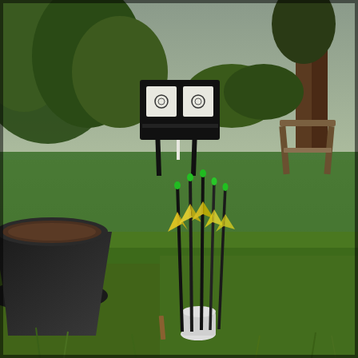[Figure (photo): Outdoor backyard archery setup. In the foreground, several black arrows with yellow and green fletching are standing upright in a white holder/stand on a green lawn. A black plastic plant pot with soil is visible on the left. In the background, a grassy yard leads to a black archery target stand with two white square targets. Trees and shrubs are visible at the back, along with a wooden swing or bench structure on the right. The scene is overcast/cloudy.]